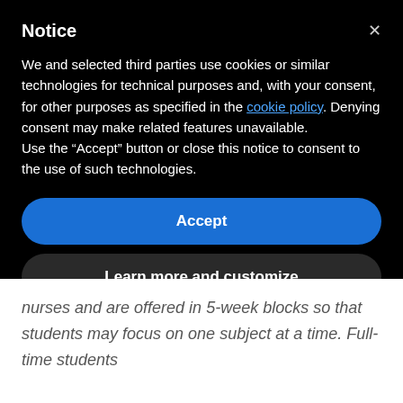Notice
We and selected third parties use cookies or similar technologies for technical purposes and, with your consent, for other purposes as specified in the cookie policy. Denying consent may make related features unavailable.
Use the "Accept" button or close this notice to consent to the use of such technologies.
Accept
Learn more and customize
nurses and are offered in 5-week blocks so that students may focus on one subject at a time. Full-time students